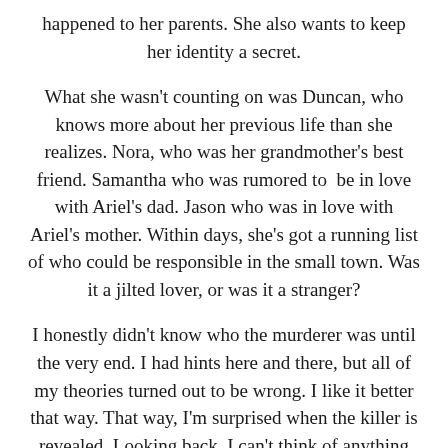happened to her parents. She also wants to keep her identity a secret.
What she wasn't counting on was Duncan, who knows more about her previous life than she realizes. Nora, who was her grandmother's best friend. Samantha who was rumored to  be in love with Ariel's dad. Jason who was in love with Ariel's mother. Within days, she's got a running list of who could be responsible in the small town. Was it a jilted lover, or was it a stranger?
I honestly didn't know who the murderer was until the very end. I had hints here and there, but all of my theories turned out to be wrong. I like it better that way. That way, I'm surprised when the killer is revealed. Looking back, I can't think of anything that made it obvious who it was.